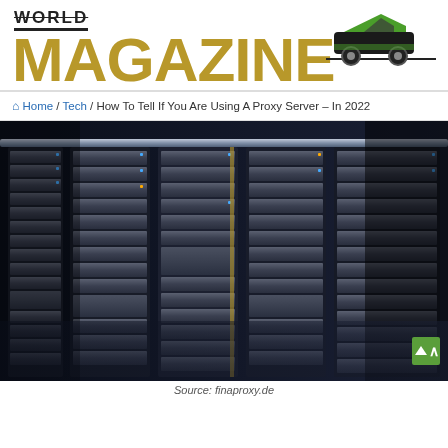WORLD MAGAZINE
Home / Tech / How To Tell If You Are Using A Proxy Server – In 2022
[Figure (photo): Rows of server rack units in a data center, showing stacked metal server chassis with indicator lights]
Source: finaproxy.de